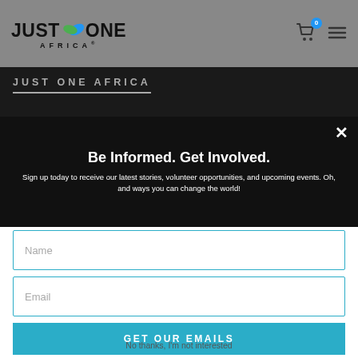[Figure (logo): Just One Africa logo with green leaf icon, company name and tagline]
JUST ONE AFRICA
Be Informed. Get Involved.
Sign up today to receive our latest stories, volunteer opportunities, and upcoming events. Oh, and ways you can change the world!
Name
Email
GET OUR EMAILS
No thanks, I'm not interested